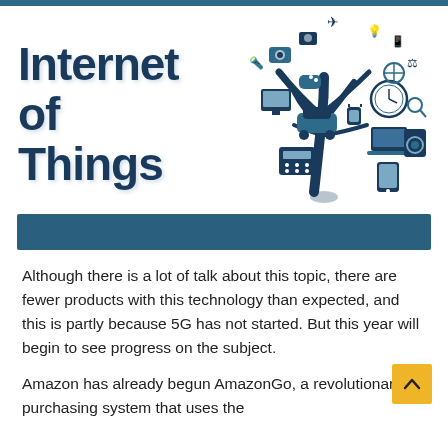Internet of Things
[Figure (illustration): IoT tree illustration: a hand/tree silhouette in dark teal surrounded by icons of connected devices including airplane, lightbulb, phone, camera, TV, car, clock, laptop, tablet, washing machine, etc.]
Although there is a lot of talk about this topic, there are fewer products with this technology than expected, and this is partly because 5G has not started. But this year will begin to see progress on the subject.
Amazon has already begun AmazonGo, a revolutionary purchasing system that uses the